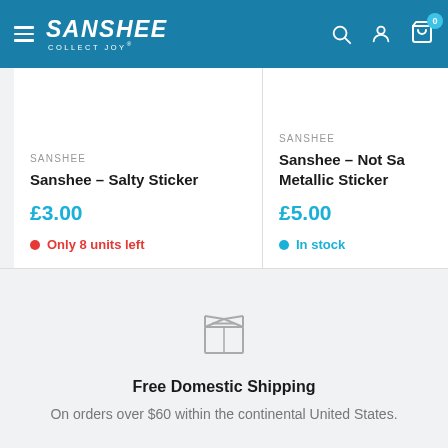SANSHEE COLLECT JOY — Navigation header with search, account, and cart icons
SANSHEE
Sanshee – Salty Sticker
£3.00
Only 8 units left
SANSHEE
Sanshee – Not Sa... Metallic Sticker
£5.00
In stock
[Figure (illustration): Box/package icon representing free domestic shipping]
Free Domestic Shipping
On orders over $60 within the continental United States.